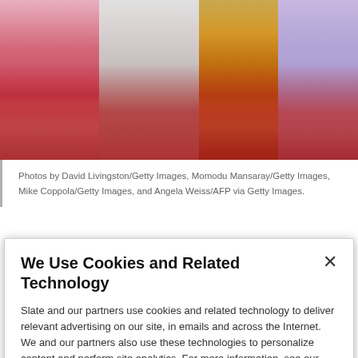[Figure (photo): Red carpet photo collage showing lower portions of four evening gowns: a pink/blush gown, a silver/white beaded gown, a gold/feathered gown, and a lavender/lilac gown, all on a red carpet.]
Photos by David Livingston/Getty Images, Momodu Mansaray/Getty Images, Mike Coppola/Getty Images, and Angela Weiss/AFP via Getty Images.
The night's most opulent textures were a true grab bag,
We Use Cookies and Related Technology
Slate and our partners use cookies and related technology to deliver relevant advertising on our site, in emails and across the Internet. We and our partners also use these technologies to personalize content and perform site analytics. For more information, see our terms and privacy policy.  Privacy Policy
OK